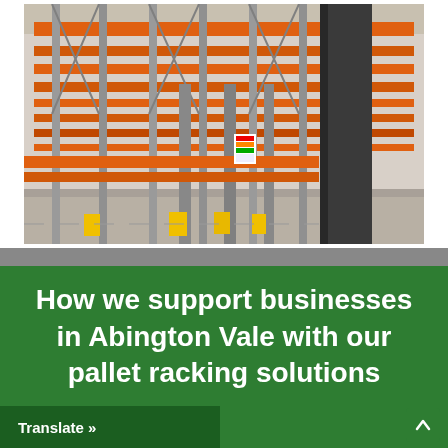[Figure (photo): Interior of a large warehouse with tall metal racking systems painted in orange/red horizontal beams and silver vertical columns. Yellow safety guards at column bases. Concrete floor visible. High ceiling with lighting.]
How we support businesses in Abington Vale with our pallet racking solutions
Translate »
▲